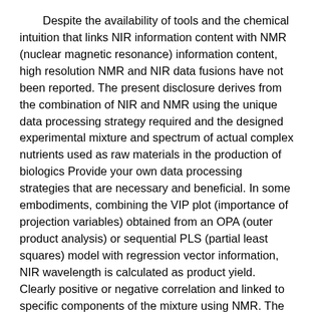Despite the availability of tools and the chemical intuition that links NIR information content with NMR (nuclear magnetic resonance) information content, high resolution NMR and NIR data fusions have not been reported. The present disclosure derives from the combination of NIR and NMR using the unique data processing strategy required and the designed experimental mixture and spectrum of actual complex nutrients used as raw materials in the production of biologics Provide your own data processing strategies that are necessary and beneficial. In some embodiments, combining the VIP plot (importance of projection variables) obtained from an OPA (outer product analysis) or sequential PLS (partial least squares) model with regression vector information, NIR wavelength is calculated as product yield. Clearly positive or negative correlation and linked to specific components of the mixture using NMR. The present disclosure also provides enhanced NIR-only wavelength selection based on a combination of NIR and NMR spectra.
In one aspect, the present disclosure provides a method that combines NIR and NMR spectroscopy techniques to